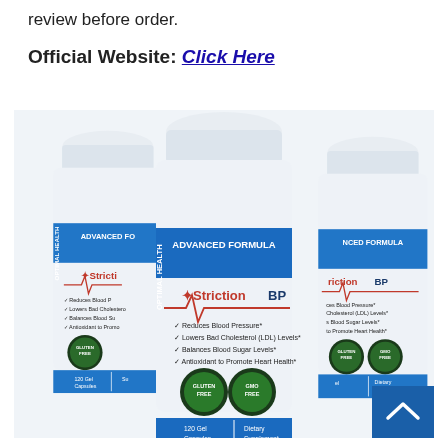review before order.
Official Website: Click Here
[Figure (photo): Three white bottles of StrictionBP dietary supplement with blue labels reading 'ADVANCED FORMULA', 'StrictionBP', '120 Gel Capsules', 'Dietary Supplement', featuring claims: 'Reduces Blood Pressure', 'Lowers Bad Cholesterol (LDL) Levels', 'Balances Blood Sugar Levels', 'Antioxidant to Promote Heart Health', with Gluten Free and GMO Free badges, by Optimal Health.]